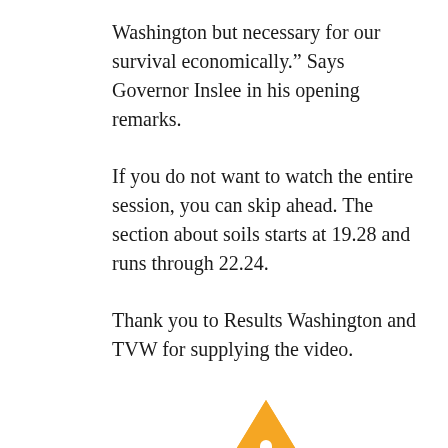Washington but necessary for our survival economically.” Says Governor Inslee in his opening remarks.
If you do not want to watch the entire session, you can skip ahead. The section about soils starts at 19.28 and runs through 22.24.
Thank you to Results Washington and TVW for supplying the video.
[Figure (illustration): Orange/yellow warning triangle icon with white exclamation mark]